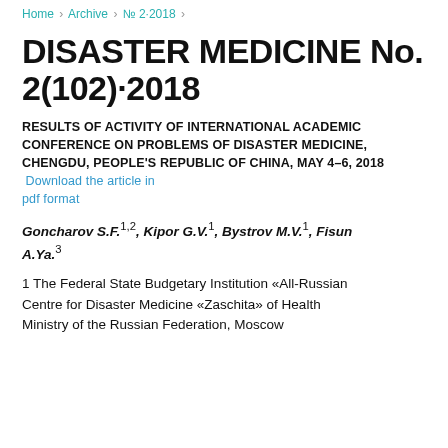Home / Archive / № 2·2018 /
DISASTER MEDICINE No. 2(102)·2018
RESULTS OF ACTIVITY OF INTERNATIONAL ACADEMIC CONFERENCE ON PROBLEMS OF DISASTER MEDICINE, CHENGDU, PEOPLE'S REPUBLIC OF CHINA, MAY 4–6, 2018  Download the article in pdf format
Goncharov S.F.1,2, Kipor G.V.1, Bystrov M.V.1, Fisun A.Ya.3
1 The Federal State Budgetary Institution «All-Russian Centre for Disaster Medicine «Zaschita» of Health Ministry of the Russian Federation, Moscow